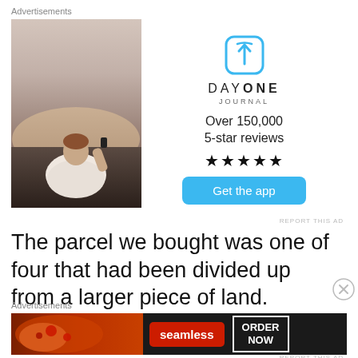Advertisements
[Figure (photo): Advertisement for Day One Journal app. Left side shows a photo of a young man sitting on rocks taking a photo with his phone against a sunset sky. Right side shows the Day One Journal logo (blue bookmark icon), the text 'DAY ONE JOURNAL', 'Over 150,000 5-star reviews', five black stars, and a blue 'Get the app' button. 'REPORT THIS AD' link at bottom right.]
The parcel we bought was one of four that had been divided up from a larger piece of land.
Advertisements
[Figure (photo): Advertisement banner for Seamless food delivery. Dark background with pizza image on left, Seamless logo in red badge, and 'ORDER NOW' in white bordered box on right.]